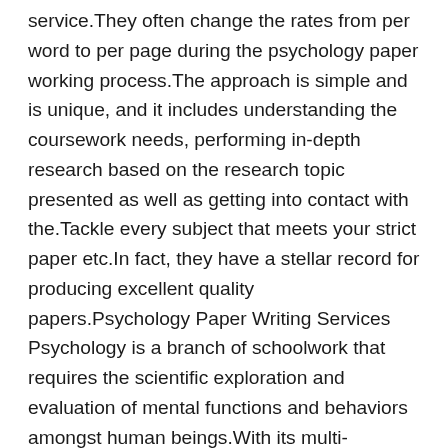service.They often change the rates from per word to per page during the psychology paper working process.The approach is simple and is unique, and it includes understanding the coursework needs, performing in-depth research based on the research topic presented as well as getting into contact with the.Tackle every subject that meets your strict paper etc.In fact, they have a stellar record for producing excellent quality papers.Psychology Paper Writing Services Psychology is a branch of schoolwork that requires the scientific exploration and evaluation of mental functions and behaviors amongst human beings.With its multi-dimensional requirements including psychological terms and good presentation, psychology essays are the most difficult to write Psychology Paper Writing Services How to Write a Psychology Essay Writing a psychology essay is one of the most interesting essays to write.Many students may be thinking that having a good plan before writing their essay can help them save a great amount of time.Writing the